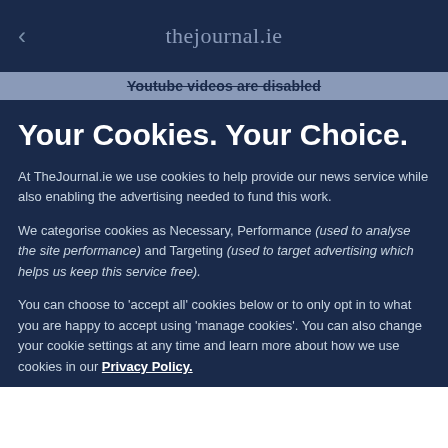thejournal.ie
Youtube videos are disabled
Your Cookies. Your Choice.
At TheJournal.ie we use cookies to help provide our news service while also enabling the advertising needed to fund this work.
We categorise cookies as Necessary, Performance (used to analyse the site performance) and Targeting (used to target advertising which helps us keep this service free).
You can choose to 'accept all' cookies below or to only opt in to what you are happy to accept using 'manage cookies'. You can also change your cookie settings at any time and learn more about how we use cookies in our Privacy Policy.